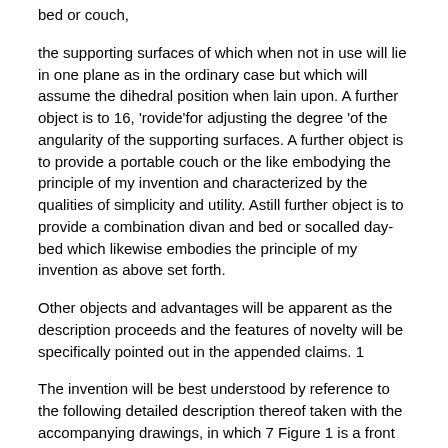bed or couch,
the supporting surfaces of which when not in use will lie in one plane as in the ordinary case but which will assume the dihedral position when lain upon. A further object is to 16, 'rovide'for adjusting the degree 'of the angularity of the supporting surfaces. A further object is to provide a portable couch or the like embodying the principle of my invention and characterized by the qualities of simplicity and utility. Astill further object is to provide a combination divan and bed or socalled day-bed which likewise embodies the principle of my invention as above set forth.
Other objects and advantages will be apparent as the description proceeds and the features of novelty will be specifically pointed out in the appended claims. 1
The invention will be best understood by reference to the following detailed description thereof taken with the accompanying drawings, in which 7 Figure 1 is a front view taken in vertical section of apreferred embodiment;
Figure 2 is a similar view showing the bed in the position of use;